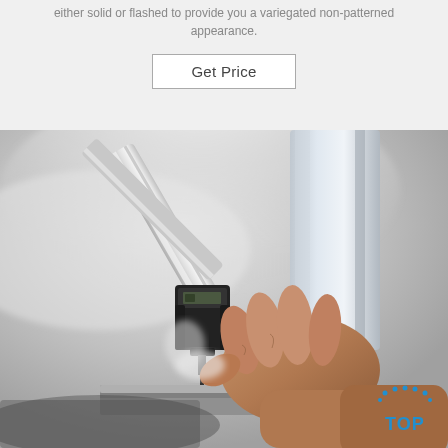either solid or flashed to provide you a variegated non-patterned appearance.
Get Price
[Figure (photo): A hand holding a micrometer or small precision measuring tool against a metallic surface, with a tube or rod being measured. Industrial/manufacturing setting with smoke or steam visible in the background.]